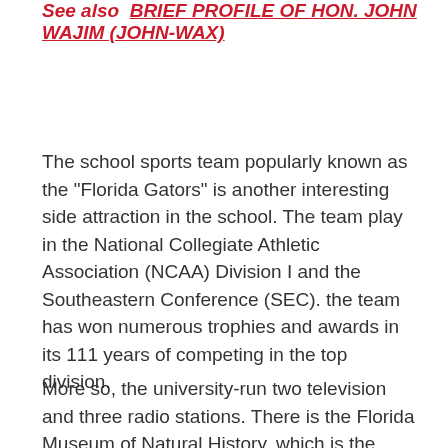See also  BRIEF PROFILE OF HON. JOHN WAJIM (JOHN-WAX)
The school sports team popularly known as the "Florida Gators" is another interesting side attraction in the school. The team play in the National Collegiate Athletic Association (NCAA) Division I and the Southeastern Conference (SEC). the team has won numerous trophies and awards in its 111 years of competing in the top division.
More so, the university-run two television and three radio stations. There is the Florida Museum of Natural History, which is the largest among the museum in the southern region of the country; A